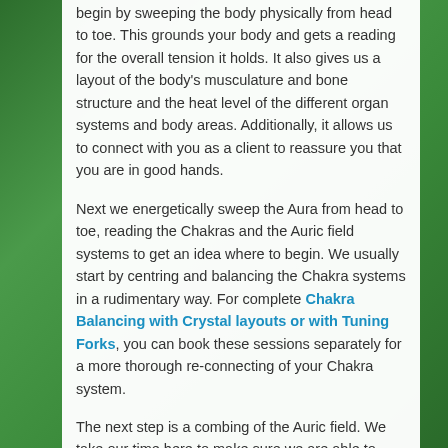begin by sweeping the body physically from head to toe. This grounds your body and gets a reading for the overall tension it holds. It also gives us a layout of the body's musculature and bone structure and the heat level of the different organ systems and body areas. Additionally, it allows us to connect with you as a client to reassure you that you are in good hands.
Next we energetically sweep the Aura from head to toe, reading the Chakras and the Auric field systems to get an idea where to begin. We usually start by centring and balancing the Chakra systems in a rudimentary way. For complete Chakra Balancing with Crystal layouts or with Tuning Forks, you can book these sessions separately for a more thorough re-connecting of your Chakra system.
The next step is a combing of the Auric field. We take our time here to make sure we are able to view and placate all of the different areas within the energetic systems. We will first work on holes and blockages within the general Auric areas.